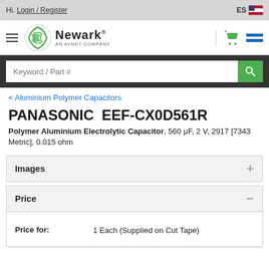Hi. Login / Register
[Figure (logo): Newark, An Avnet Company logo]
Keyword / Part #
< Aluminium Polymer Capacitors
PANASONIC EEF-CX0D561R
Polymer Aluminium Electrolytic Capacitor, 560 μF, 2 V, 2917 [7343 Metric], 0.015 ohm
Images
Price
| Price for: |  |
| --- | --- |
| Price for: | 1 Each (Supplied on Cut Tape) |